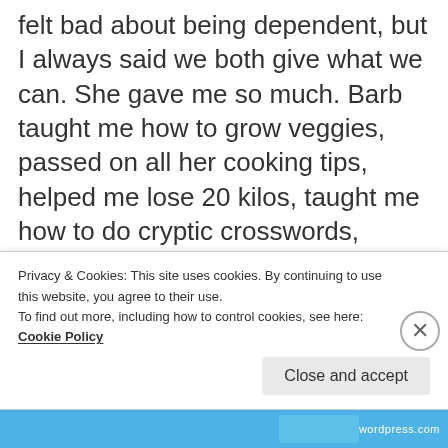felt bad about being dependent, but I always said we both give what we can. She gave me so much. Barb taught me how to grow veggies, passed on all her cooking tips, helped me lose 20 kilos, taught me how to do cryptic crosswords, introduced me to cats, taught me the value of kindness. One of her favourite lines was “soften your gaze”. She showed me that no matter how narrow your life becomes, there
Privacy & Cookies: This site uses cookies. By continuing to use this website, you agree to their use.
To find out more, including how to control cookies, see here: Cookie Policy
Close and accept